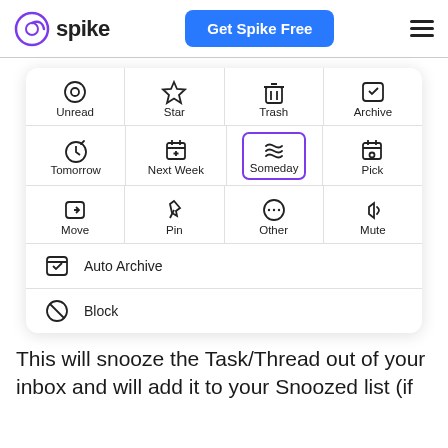[Figure (screenshot): Spike app header with logo, 'Get Spike Free' button, and hamburger menu]
[Figure (screenshot): Spike email action menu grid with icons: Unread, Star, Trash, Archive, Tomorrow, Next Week, Someday (highlighted with purple border), Pick, Move, Pin, Other, Mute, Auto Archive, Block]
This will snooze the Task/Thread out of your inbox and will add it to your Snoozed list (if